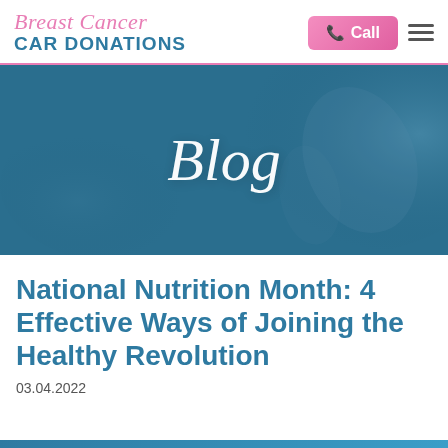Breast Cancer CAR DONATIONS
[Figure (illustration): Blog banner with teal/blue background showing blurred hands, with italic cursive 'Blog' text overlaid in white]
National Nutrition Month: 4 Effective Ways of Joining the Healthy Revolution
03.04.2022